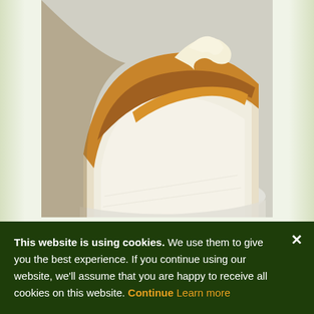[Figure (photo): A slice of cheesecake or cream-topped cake on a white plate, showing a dense white interior with golden-brown top and cream topping]
[Figure (infographic): Three dark green circular social media icons: Twitter bird, Facebook f, and Pinterest P]
This website is using cookies. We use them to give you the best experience. If you continue using our website, we'll assume that you are happy to receive all cookies on this website. Continue  Learn more